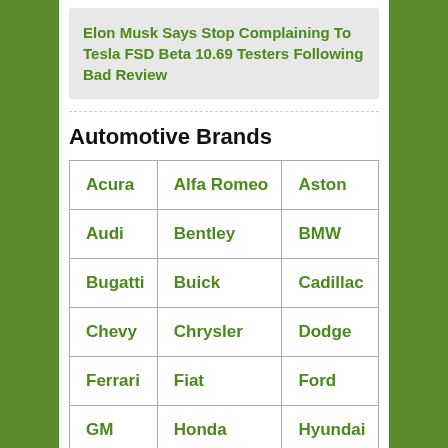Elon Musk Says Stop Complaining To Tesla FSD Beta 10.69 Testers Following Bad Review
Automotive Brands
| Acura | Alfa Romeo | Aston |
| Audi | Bentley | BMW |
| Bugatti | Buick | Cadillac |
| Chevy | Chrysler | Dodge |
| Ferrari | Fiat | Ford |
| GM | Honda | Hyundai |
| Infiniti | ... | ... |